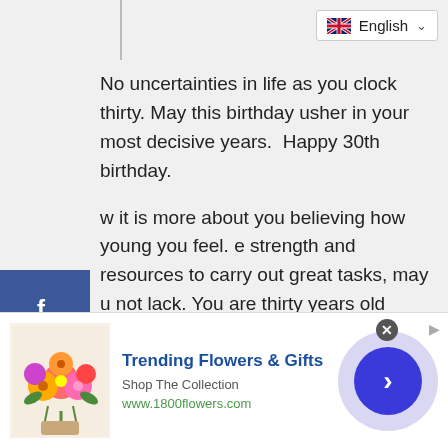[Figure (screenshot): Language selector dropdown showing UK flag and 'English' label with chevron]
No uncertainties in life as you clock thirty. May this birthday usher in your most decisive years.  Happy 30th birthday.
w it is more about you believing how young you feel. e strength and resources to carry out great tasks, may u not lack. You are thirty years old buddy. I celebrate u.
riously, life is too short to be lived counting the years. joy every bit and make awesome memories of it. ppy thirtieth birthday.
[Figure (infographic): Social media sharing sidebar with Facebook, Twitter, WhatsApp, Instagram, Pinterest, and Telegram buttons]
[Figure (infographic): Advertisement banner for 1800flowers.com: Trending Flowers & Gifts, Shop The Collection, www.1800flowers.com]